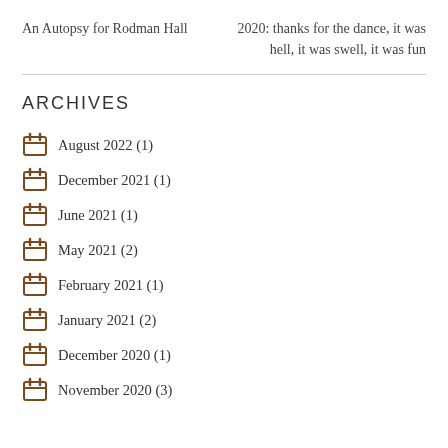An Autopsy for Rodman Hall
2020: thanks for the dance, it was hell, it was swell, it was fun
ARCHIVES
August 2022 (1)
December 2021 (1)
June 2021 (1)
May 2021 (2)
February 2021 (1)
January 2021 (2)
December 2020 (1)
November 2020 (3)